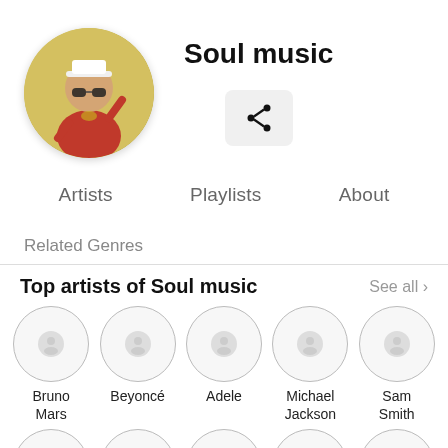[Figure (photo): Circular avatar photo of a man in a red shirt with hat and sunglasses, yellow/gold background]
Soul music
[Figure (other): Share icon button in a rounded rectangle]
Artists
Playlists
About
Related Genres
Top artists of Soul music
See all ›
Bruno Mars
Beyoncé
Adele
Michael Jackson
Sam Smith